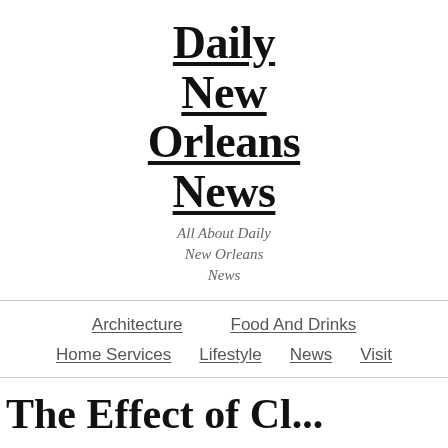Daily New Orleans News
All About Daily New Orleans News
Architecture | Food And Drinks | Home Services | Lifestyle | News | Visit
The Effect of Cl...